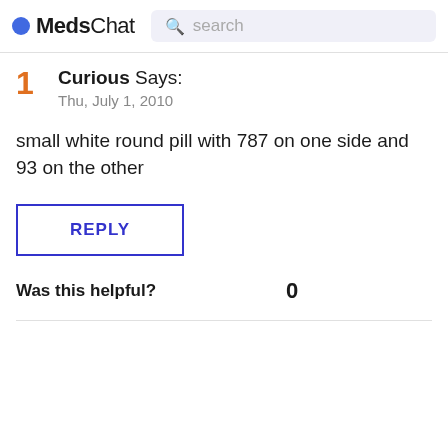MedsChat  search
1  Curious Says:  Thu, July 1, 2010
small white round pill with 787 on one side and 93 on the other
REPLY
Was this helpful?  0